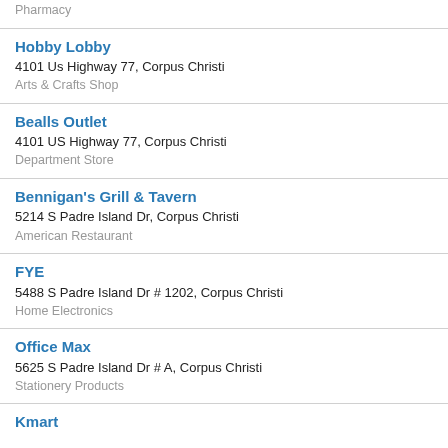Pharmacy
Hobby Lobby
4101 Us Highway 77, Corpus Christi
Arts & Crafts Shop
Bealls Outlet
4101 US Highway 77, Corpus Christi
Department Store
Bennigan's Grill & Tavern
5214 S Padre Island Dr, Corpus Christi
American Restaurant
FYE
5488 S Padre Island Dr # 1202, Corpus Christi
Home Electronics
Office Max
5625 S Padre Island Dr # A, Corpus Christi
Stationery Products
Kmart